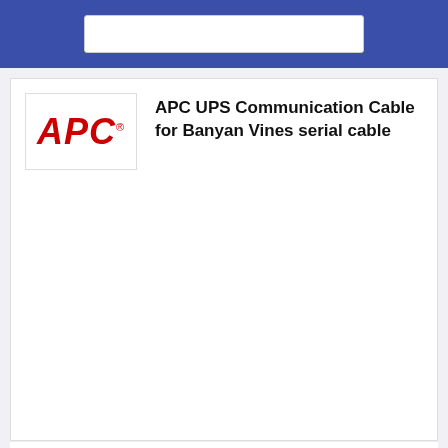[Figure (logo): APC brand logo in red italic bold text with trademark symbol]
APC UPS Communication Cable for Banyan Vines serial cable
👍 (0)  Share
Search similar products
Add to compare